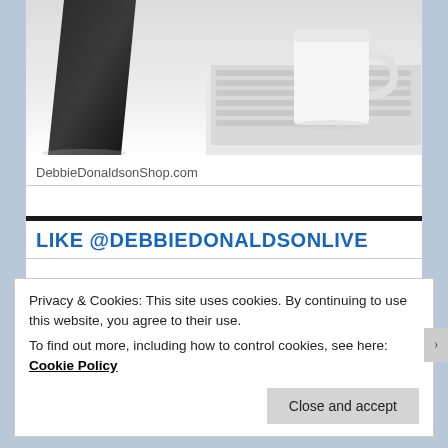[Figure (photo): Photo showing a black box/container and a white ceramic mug on a white surface with a laptop keyboard in the background]
DebbieDonaldsonShop.com
LIKE @DEBBIEDONALDSONLIVE
Privacy & Cookies: This site uses cookies. By continuing to use this website, you agree to their use.
To find out more, including how to control cookies, see here: Cookie Policy
Close and accept